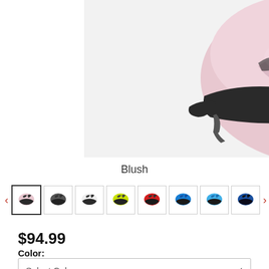[Figure (photo): Pink/blush bicycle helmet with black visor and vents, shown on white background]
Blush
[Figure (photo): Row of 8 thumbnail images of bicycle helmets in different colors: blush/pink (selected), dark grey, white/black, yellow-green, red, blue, light blue, blue/black. Navigation arrows on left and right.]
$94.99
Color:
Select Color
Size:
Select Size